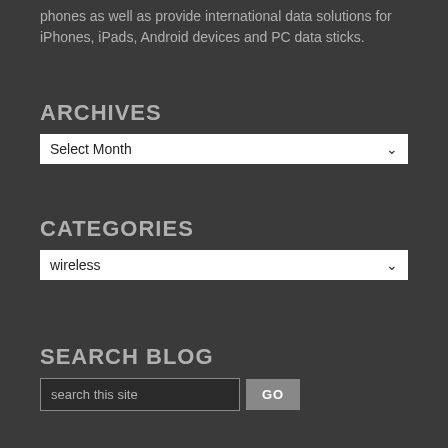phones as well as provide international data solutions for iPhones, iPads, Android devices and PC data sticks.
ARCHIVES
Select Month [dropdown]
CATEGORIES
wireless [dropdown]
SEARCH BLOG
search this site  GO
RECENT POSTS
The Experiment: Accessing Internet in Bermuda
The Experiment: Thoughts &amp;amp;amp;amp;amp; tips from travelling